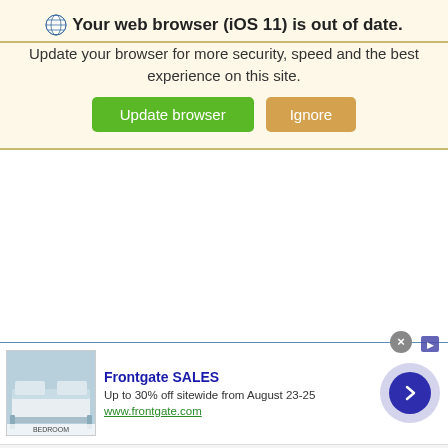🌐 Your web browser (iOS 11) is out of date.
Update your browser for more security, speed and the best experience on this site.
[Figure (screenshot): Two UI buttons: green 'Update browser' button and tan/gold 'Ignore' button]
[Figure (screenshot): Advertisement banner for Frontgate SALES showing bedroom image, text 'Up to 30% off sitewide from August 23-25', URL www.frontgate.com, with navigation arrow button, close X button, and ad flag icon]